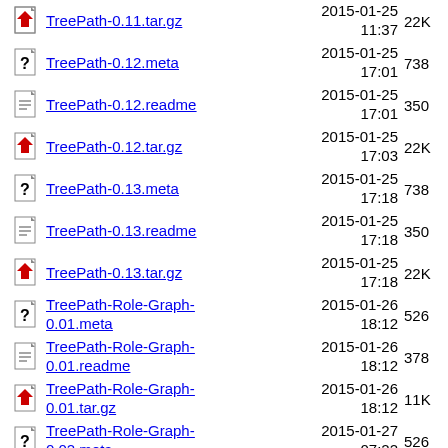TreePath-0.11.tar.gz  2015-01-25 11:37  22K
TreePath-0.12.meta  2015-01-25 17:01  738
TreePath-0.12.readme  2015-01-25 17:01  350
TreePath-0.12.tar.gz  2015-01-25 17:03  22K
TreePath-0.13.meta  2015-01-25 17:18  738
TreePath-0.13.readme  2015-01-25 17:18  350
TreePath-0.13.tar.gz  2015-01-25 17:18  22K
TreePath-Role-Graph-0.01.meta  2015-01-26 18:12  526
TreePath-Role-Graph-0.01.readme  2015-01-26 18:12  378
TreePath-Role-Graph-0.01.tar.gz  2015-01-26 18:12  11K
TreePath-Role-Graph-0.02.meta  2015-01-27 07:22  526